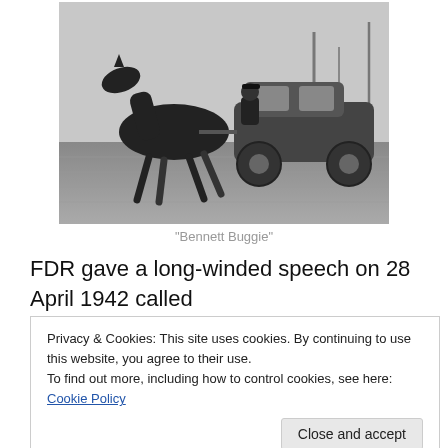[Figure (photo): Black and white photograph of a horse pulling the front of an automobile (car body with no engine, horse harnessed to the front), being driven by a man in uniform on a street, with trees in the background. Known as the 'Bennett Buggie'.]
“Bennett Buggie”
FDR gave a long-winded speech on 28 April 1942 called
the “Call for Sacrifice” — he wanted to restrict... [partially hidden by cookie banner]
Privacy & Cookies: This site uses cookies. By continuing to use this website, you agree to their use.
To find out more, including how to control cookies, see here: Cookie Policy
in action and that is right here at home and that is the